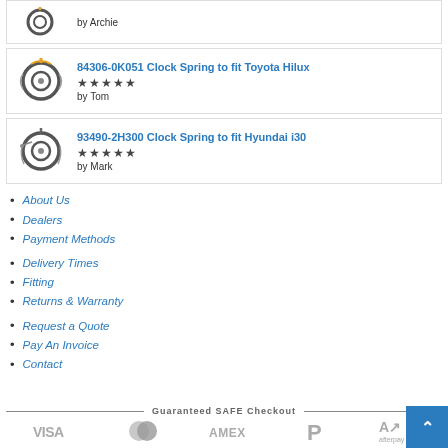by Archie
84306-0K051 Clock Spring to fit Toyota Hilux — ★★★★★ — by Tom
93490-2H300 Clock Spring to fit Hyundai i30 — ★★★★★ — by Mark
About Us
Dealers
Payment Methods
Delivery Times
Fitting
Returns & Warranty
Request a Quote
Pay An Invoice
Contact
Guaranteed SAFE Checkout
[Figure (logo): Payment logos: VISA, Mastercard, AMEX, PayPal, Afterpay]